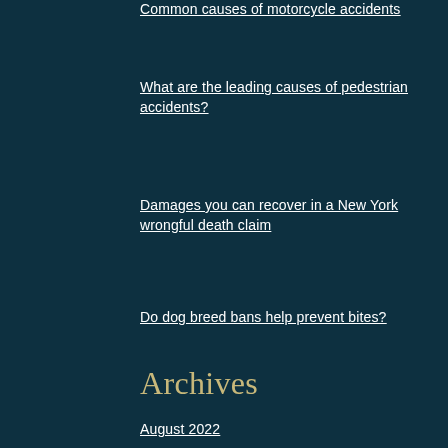Common causes of motorcycle accidents
What are the leading causes of pedestrian accidents?
Damages you can recover in a New York wrongful death claim
Do dog breed bans help prevent bites?
Archives
August 2022
July 2022